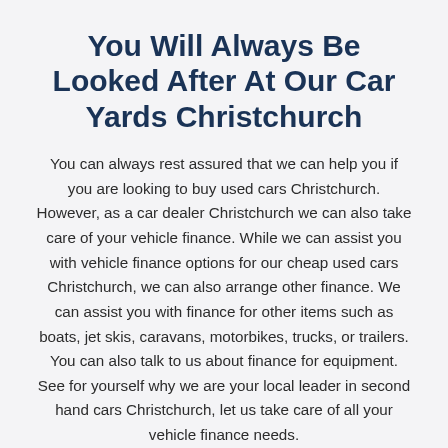You Will Always Be Looked After At Our Car Yards Christchurch
You can always rest assured that we can help you if you are looking to buy used cars Christchurch. However, as a car dealer Christchurch we can also take care of your vehicle finance. While we can assist you with vehicle finance options for our cheap used cars Christchurch, we can also arrange other finance. We can assist you with finance for other items such as boats, jet skis, caravans, motorbikes, trucks, or trailers. You can also talk to us about finance for equipment. See for yourself why we are your local leader in second hand cars Christchurch, let us take care of all your vehicle finance needs.